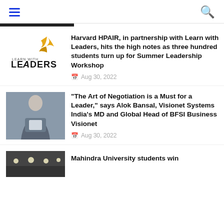Navigation menu and search
[Figure (screenshot): Dark horizontal banner/bar at top]
[Figure (logo): Learn with Leaders logo with golden bird icon]
Harvard HPAIR, in partnership with Learn with Leaders, hits the high notes as three hundred students turn up for Summer Leadership Workshop
Aug 30, 2022
[Figure (photo): Photo of Alok Bansal, man in grey blazer and jeans, standing in front of grey background]
"The Art of Negotiation is a Must for a Leader," says Alok Bansal, Visionet Systems India's MD and Global Head of BFSI Business Visionet
Aug 30, 2022
[Figure (photo): Partial photo of Mahindra University, interior with lights]
Mahindra University students win